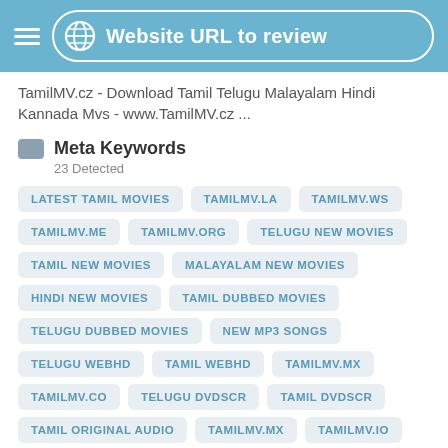Website URL to review
TamilMV.cz - Download Tamil Telugu Malayalam Hindi Kannada Mvs - www.TamilMV.cz ...
Meta Keywords
23 Detected
LATEST TAMIL MOVIES
TAMILMV.LA
TAMILMV.WS
TAMILMV.ME
TAMILMV.ORG
TELUGU NEW MOVIES
TAMIL NEW MOVIES
MALAYALAM NEW MOVIES
HINDI NEW MOVIES
TAMIL DUBBED MOVIES
TELUGU DUBBED MOVIES
NEW MP3 SONGS
TELUGU WEBHD
TAMIL WEBHD
TAMILMV.MX
TAMILMV.CO
TELUGU DVDSCR
TAMIL DVDSCR
TAMIL ORIGINAL AUDIO
TAMILMV.MX
TAMILMV.IO
TAMILMV.VC
TAMILM